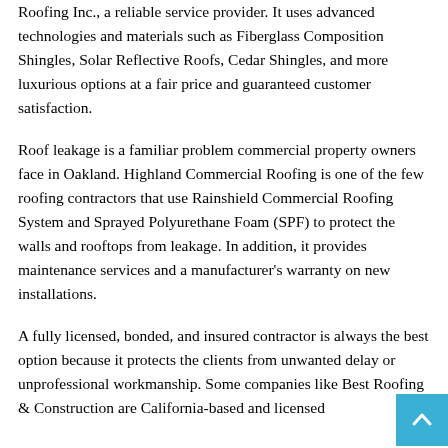Roofing Inc., a reliable service provider. It uses advanced technologies and materials such as Fiberglass Composition Shingles, Solar Reflective Roofs, Cedar Shingles, and more luxurious options at a fair price and guaranteed customer satisfaction.
Roof leakage is a familiar problem commercial property owners face in Oakland. Highland Commercial Roofing is one of the few roofing contractors that use Rainshield Commercial Roofing System and Sprayed Polyurethane Foam (SPF) to protect the walls and rooftops from leakage. In addition, it provides maintenance services and a manufacturer's warranty on new installations.
A fully licensed, bonded, and insured contractor is always the best option because it protects the clients from unwanted delay or unprofessional workmanship. Some companies like Best Roofing & Construction are California-based and licensed